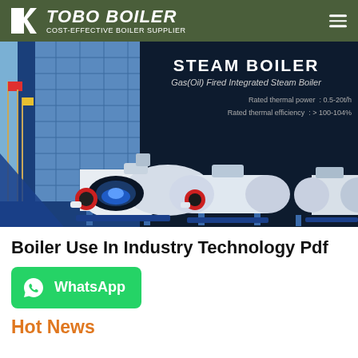TOBO BOILER — COST-EFFECTIVE BOILER SUPPLIER
[Figure (screenshot): Hero banner showing steam boiler advertisement with building photo on left and boiler product images on right. Text: STEAM BOILER, Gas(Oil) Fired Integrated Steam Boiler, Rated thermal power: 0.5-20t/h, Rated thermal efficiency: > 100-104%]
Boiler Use In Industry Technology Pdf
[Figure (logo): WhatsApp button — green rounded rectangle with WhatsApp icon and text 'WhatsApp']
Hot News